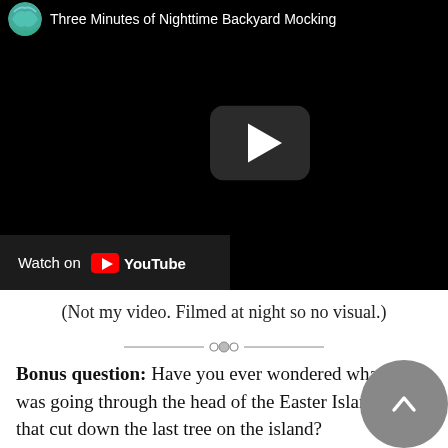[Figure (screenshot): Embedded YouTube video player showing a black screen (nighttime video) with a play button in the center, YouTube logo and title 'Three Minutes of Nighttime Backyard Mocking...' at the top, and a 'Watch on YouTube' bar at the bottom left.]
(Not my video. Filmed at night so no visual.)
Bonus question: Have you ever wondered what was going through the head of the Easter Islander that cut down the last tree on the island?